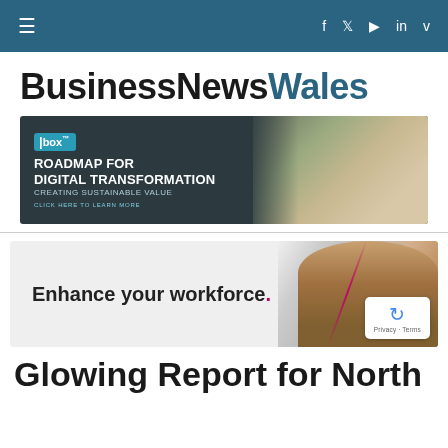≡  f  ▶  in  v
BusinessNewsWales
[Figure (photo): Box advertisement: Roadmap for Digital Transformation - Creating Sustainable Value. Click here to learn more. Shows a person in a yellow safety vest and hard hat.]
[Figure (photo): Advertisement: Enhance your workforce. Shows a person with glasses smiling.]
Glowing Report for North